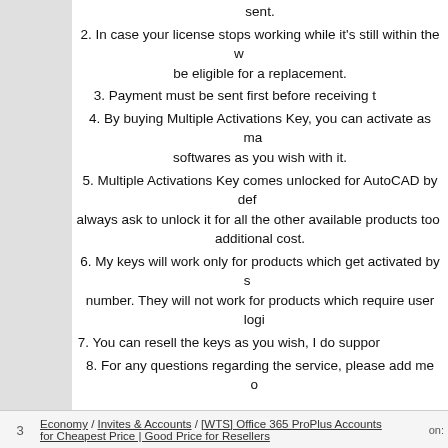sent.
2. In case your license stops working while it's still within the warranty period, you will be eligible for a replacement.
3. Payment must be sent first before receiving the keys.
4. By buying Multiple Activations Key, you can activate as many computers and softwares as you wish with it.
5. Multiple Activations Key comes unlocked for AutoCAD by default, but you can always ask to unlock it for all the other available products too, for no additional cost.
6. My keys will work only for products which get activated by serial number. They will not work for products which require user login.
7. You can resell the keys as you wish, I do support resellers.
8. For any questions regarding the service, please add me on:
[Contact Me]
Telegram: https://t.me/SoftKeySeller (@S...)
Skype: live:.cid.d0ff904f6fa3d...
Forum PM
Sellix Query or Shoppy Query
3  Economy / Invites & Accounts / [WTS] Office 365 ProPlus Accounts for Cheapest Price | Good Price for Resellers  on: